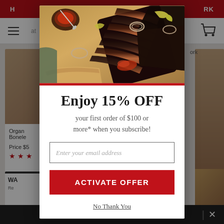[Figure (screenshot): Background website showing an e-commerce meat/food store with red top navigation bar, hamburger menu, shopping cart icon, product cards with brisket/pork images, star ratings, and a dark bottom bar]
[Figure (photo): Photo of sliced BBQ brisket on a wooden cutting board with onion rings, pepperoncini peppers, lemon slices, and a bowl of BBQ sauce]
Enjoy 15% OFF
your first order of $100 or more* when you subscribe!
Enter your email address
ACTIVATE OFFER
No Thank You